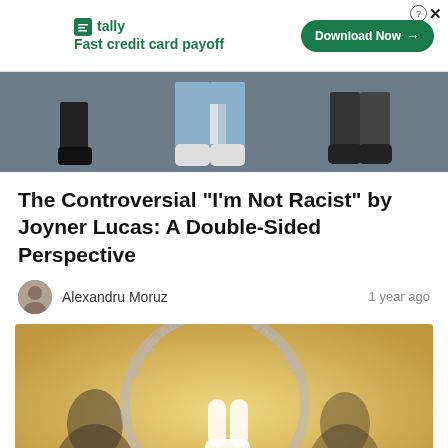[Figure (screenshot): Advertisement banner for Tally app - Fast credit card payoff with Download Now button]
[Figure (photo): Cropped photo showing lower half of people standing, from a music video]
The Controversial "I'm Not Racist" by Joyner Lucas: A Double-Sided Perspective
Alexandru Moruz   1 year ago
[Figure (photo): Image with circular watermark text reading 'Songs About Peace and Anti-' with a peace sign hand gesture and a Post a Meaning button]